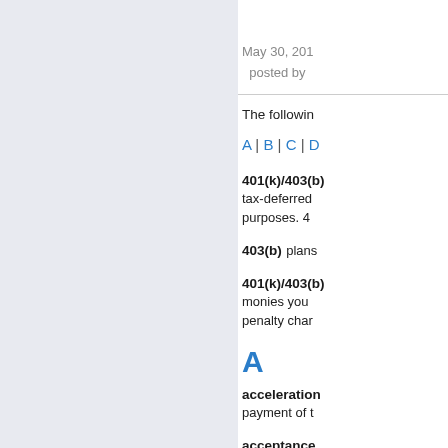May 30, 201... posted by
The followin...
A | B | C | D
401(k)/403(b) tax-deferred purposes. 40
403(b) plans
401(k)/403(b) monies you penalty char
A
acceleration payment of t
acceptance